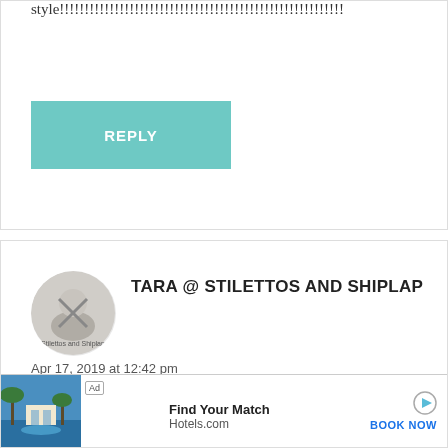style!!!!!!!!!!!!!!!!!!!!!!!!!!!!!!!!!!!!!!!!!!!!!!!!!!!!!!!!
REPLY
TARA @ STILETTOS AND SHIPLAP
Apr 17, 2019 at 12:42 pm
I think the feeling this style creates, resonates with so many. I think that's why so many jumped on the farmhouse wagon and went overboard with it so that now the word "farmhouse" is accompanied by some eye-rolling...uch of a...ow
[Figure (infographic): Ad banner: Hotels.com advertisement with tropical resort photo, 'Find Your Match' text, and 'BOOK NOW' button]